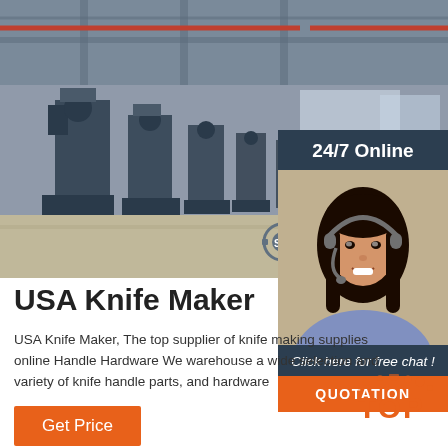[Figure (photo): Factory floor showing a row of large industrial knife-making/metalworking machines in a warehouse setting. Gray machinery lined up in perspective. ST logo watermark visible bottom right of photo.]
[Figure (infographic): 24/7 Online chat widget with dark blue background, photo of smiling woman with headset, 'Click here for free chat!' text, and orange QUOTATION button.]
USA Knife Maker
USA Knife Maker, The top supplier of knife making supplies online Handle Hardware We warehouse a wide selection and variety of knife handle parts, and hardware
[Figure (logo): Orange and gray TOP badge with dot pattern]
Get Price